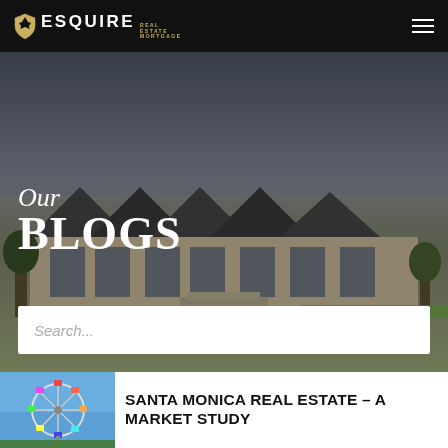ESQUIRE REAL ESTATE MORTGAGE
[Figure (photo): Hero background photo of a large luxury house with multiple peaked rooflines and garage, surrounded by paved driveway and landscaping, under an overcast sky. Overlaid with italic text 'Our' and bold uppercase text 'BLOGS', plus a search bar reading 'Search…']
[Figure (photo): Thumbnail photo showing a Ferris wheel against a blue sky, partial view, colorful gondolas visible]
SANTA MONICA REAL ESTATE – A MARKET STUDY